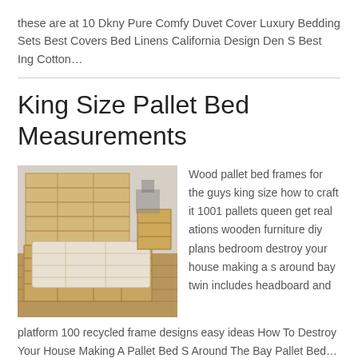these are at 10 Dkny Pure Comfy Duvet Cover Luxury Bedding Sets Best Covers Bed Linens California Design Den S Best Ing Cotton…
King Size Pallet Bed Measurements
[Figure (photo): Photo of a king size pallet bed with wooden pallets stacked as frame and headboard, with a mattress on top, in a room with wooden floor.]
Wood pallet bed frames for the guys king size how to craft it 1001 pallets queen get real ations wooden furniture diy plans bedroom destroy your house making a s around bay twin includes headboard and platform 100 recycled frame designs easy ideas How To Destroy Your House Making A Pallet Bed S Around The Bay Pallet Bed…